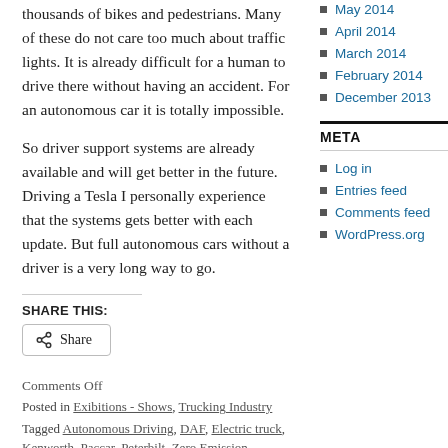thousands of bikes and pedestrians. Many of these do not care too much about traffic lights. It is already difficult for a human to drive there without having an accident. For an autonomous car it is totally impossible.
So driver support systems are already available and will get better in the future. Driving a Tesla I personally experience that the systems gets better with each update. But full autonomous cars without a driver is a very long way to go.
SHARE THIS:
Comments Off
Posted in Exibitions - Shows, Trucking Industry
Tagged Autonomous Driving, DAF, Electric truck, Kenworth, Paccar, Peterbilt, Zero Emission
May 2014
April 2014
March 2014
February 2014
December 2013
META
Log in
Entries feed
Comments feed
WordPress.org